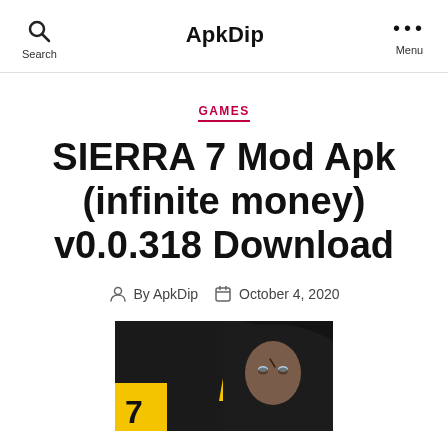ApkDip — Search | Menu
GAMES
SIERRA 7 Mod Apk (infinite money) v0.0.318 Download
By ApkDip  October 4, 2020
[Figure (photo): Sierra 7 game cover image showing a person in a dark hoodie with a yellow stripe, and a yellow badge with the number 7]